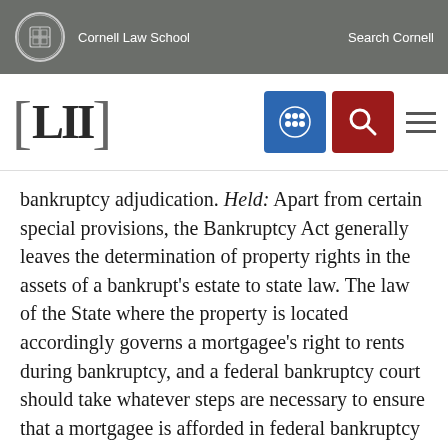Cornell Law School   Search Cornell
[Figure (logo): LII Legal Information Institute logo with Cornell Law School branding, navigation icons including a blue grid icon and red search icon, and a hamburger menu]
bankruptcy adjudication. Held: Apart from certain special provisions, the Bankruptcy Act generally leaves the determination of property rights in the assets of a bankrupt's estate to state law. The law of the State where the property is located accordingly governs a mortgagee's right to rents during bankruptcy, and a federal bankruptcy court should take whatever steps are necessary to ensure that a mortgagee is afforded in federal bankruptcy court the same protection he would have under state law had no bankruptcy ensued. Though the general principle of the applicability of state law to determine property rights in a bankrupt's assets was applied by both the District